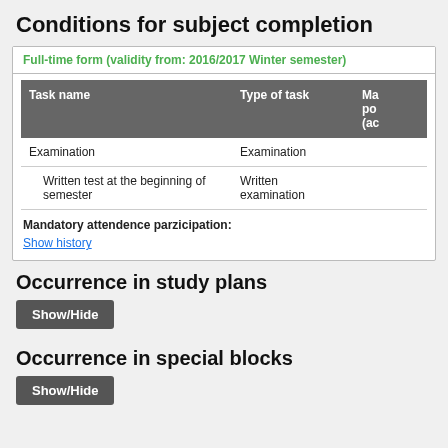Conditions for subject completion
Full-time form (validity from: 2016/2017 Winter semester)
| Task name | Type of task | Ma po (ac |
| --- | --- | --- |
| Examination | Examination |  |
| Written test at the beginning of semester | Written examination |  |
Mandatory attendence parzicipation:
Show history
Occurrence in study plans
Show/Hide
Occurrence in special blocks
Show/Hide